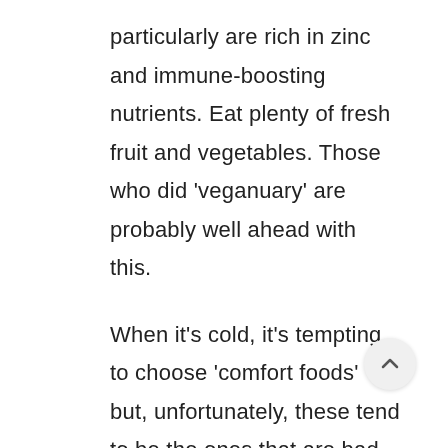particularly are rich in zinc and immune-boosting nutrients. Eat plenty of fresh fruit and vegetables. Those who did 'veganuary' are probably well ahead with this.
When it's cold, it's tempting to choose 'comfort foods' but, unfortunately, these tend to be the ones that are bad for you. Usually they are highly processed. The problem with processed foods is that they contain large amounts of sugar, salt, additives and trans fats. They might satisfy in the short term but do your body no